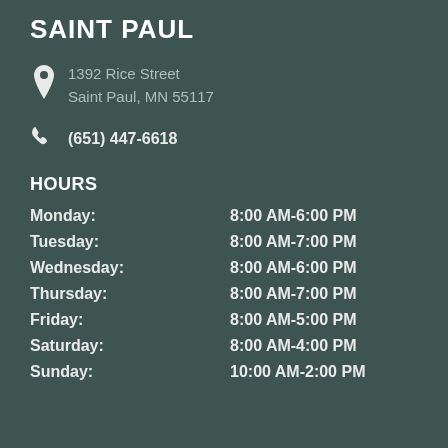SAINT PAUL
1392 Rice Street
Saint Paul, MN 55117
(651) 447-6618
HOURS
| Day | Hours |
| --- | --- |
| Monday: | 8:00 AM-6:00 PM |
| Tuesday: | 8:00 AM-7:00 PM |
| Wednesday: | 8:00 AM-6:00 PM |
| Thursday: | 8:00 AM-7:00 PM |
| Friday: | 8:00 AM-5:00 PM |
| Saturday: | 8:00 AM-4:00 PM |
| Sunday: | 10:00 AM-2:00 PM |